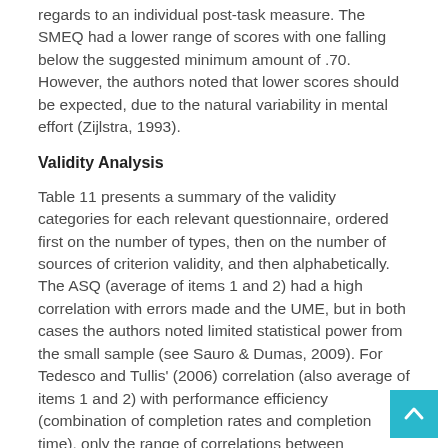regards to an individual post-task measure. The SMEQ had a lower range of scores with one falling below the suggested minimum amount of .70. However, the authors noted that lower scores should be expected, due to the natural variability in mental effort (Zijlstra, 1993).
Validity Analysis
Table 11 presents a summary of the validity categories for each relevant questionnaire, ordered first on the number of types, then on the number of sources of criterion validity, and then alphabetically. The ASQ (average of items 1 and 2) had a high correlation with errors made and the UME, but in both cases the authors noted limited statistical power from the small sample (see Sauro & Dumas, 2009). For Tedesco and Tullis' (2006) correlation (also average of items 1 and 2) with performance efficiency (combination of completion rates and completion time), only the range of correlations between numerous usability measures and performance efficiency was